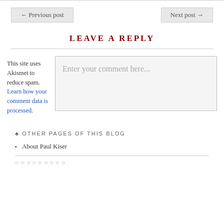← Previous post
Next post →
LEAVE A REPLY
This site uses Akismet to reduce spam. Learn how your comment data is processed.
Enter your comment here...
♣ OTHER PAGES OF THIS BLOG
About Paul Kiser